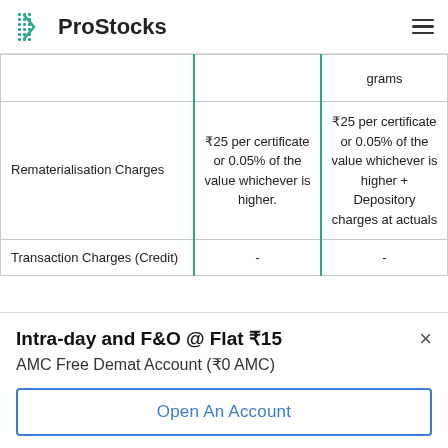ProStocks
|  |  |  |
| --- | --- | --- |
|  |  | grams |
| Rematerialisation Charges | ₹25 per certificate or 0.05% of the value whichever is higher. | ₹25 per certificate or 0.05% of the value whichever is higher + Depository charges at actuals |
| Transaction Charges (Credit) | - | - |
Intra-day and F&O @ Flat ₹15
AMC Free Demat Account (₹0 AMC)
Open An Account